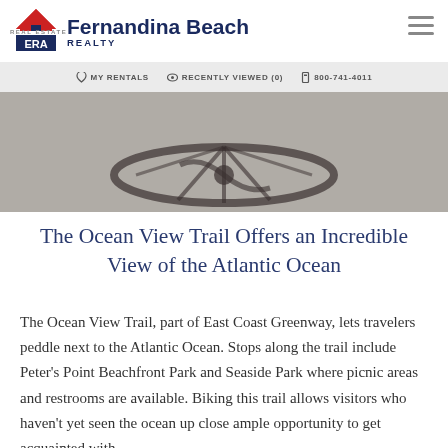[Figure (photo): ERA Fernandina Beach Realty website header with logo on white background, hamburger menu icon top right, navigation bar with MY RENTALS, RECENTLY VIEWED (0), 800-741-4011, and a hero photo of a bicycle shadow cast on pavement]
The Ocean View Trail Offers an Incredible View of the Atlantic Ocean
The Ocean View Trail, part of East Coast Greenway, lets travelers peddle next to the Atlantic Ocean. Stops along the trail include Peter's Point Beachfront Park and Seaside Park where picnic areas and restrooms are available. Biking this trail allows visitors who haven't yet seen the ocean up close ample opportunity to get acquainted with